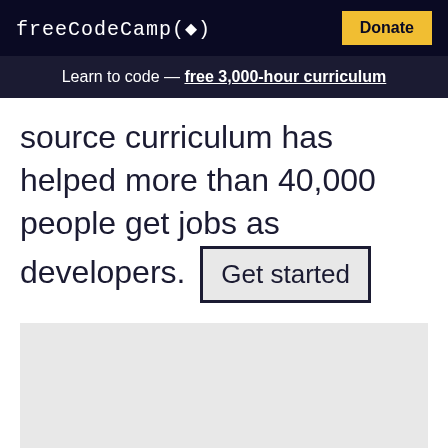freeCodeCamp(fire) Donate
Learn to code — free 3,000-hour curriculum
source curriculum has helped more than 40,000 people get jobs as developers. Get started
[Figure (other): Light gray placeholder image area below the hero text]